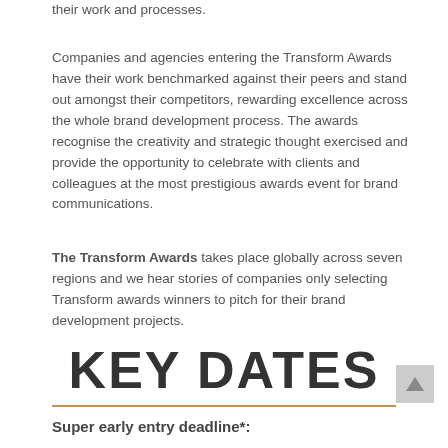their work and processes.
Companies and agencies entering the Transform Awards have their work benchmarked against their peers and stand out amongst their competitors, rewarding excellence across the whole brand development process. The awards recognise the creativity and strategic thought exercised and provide the opportunity to celebrate with clients and colleagues at the most prestigious awards event for brand communications.
The Transform Awards takes place globally across seven regions and we hear stories of companies only selecting Transform awards winners to pitch for their brand development projects.
KEY DATES
Super early entry deadline*: